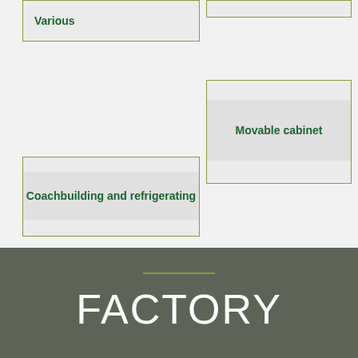[Figure (flowchart): Flowchart diagram showing boxes with labels: 'Various', an empty box, 'Movable cabinet', and 'Coachbuilding and refrigerating', arranged in a layout with olive/green borders on a light gray background]
FACTORY